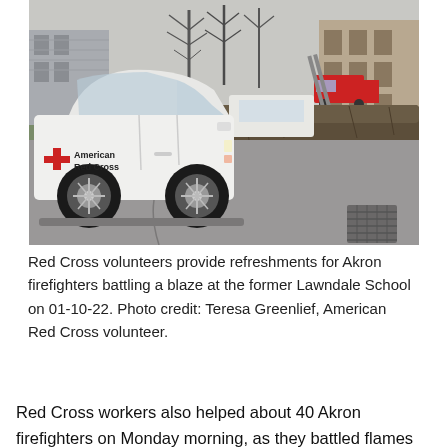[Figure (photo): An American Red Cross white SUV vehicle parked on a driveway near a hedgerow. Fire trucks and a building are visible in the background. The vehicle has the American Red Cross logo and name on its door.]
Red Cross volunteers provide refreshments for Akron firefighters battling a blaze at the former Lawndale School on 01-10-22. Photo credit: Teresa Greenlief, American Red Cross volunteer.
Red Cross workers also helped about 40 Akron firefighters on Monday morning, as they battled flames in an